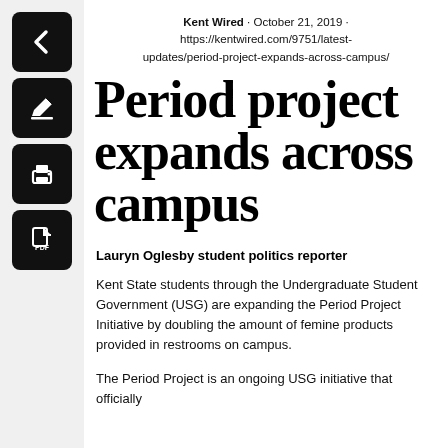Kent Wired · October 21, 2019 · https://kentwired.com/9751/latest-updates/period-project-expands-across-campus/
Period project expands across campus
Lauryn Oglesby student politics reporter
Kent State students through the Undergraduate Student Government (USG) are expanding the Period Project Initiative by doubling the amount of femine products provided in restrooms on campus.
The Period Project is an ongoing USG initiative that officially